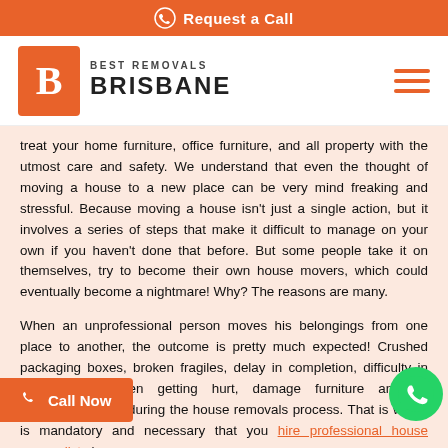Request a Call
[Figure (logo): Best Removals Brisbane logo with orange B icon and brand text]
treat your home furniture, office furniture, and all property with the utmost care and safety. We understand that even the thought of moving a house to a new place can be very mind freaking and stressful. Because moving a house isn't just a single action, but it involves a series of steps that make it difficult to manage on your own if you haven't done that before. But some people take it on themselves, try to become their own house movers, which could eventually become a nightmare! Why? The reasons are many.
When an unprofessional person moves his belongings from one place to another, the outcome is pretty much expected! Crushed packaging boxes, broken fragiles, delay in completion, difficulty in handling, or even getting hurt, damage furniture and its surroundings, etc during the house removals process. That is why it is mandatory and necessary that you hire professional house removalists in